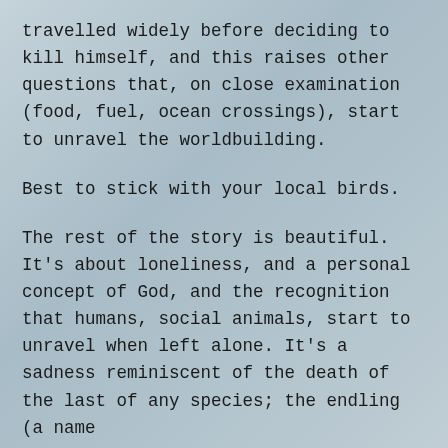travelled widely before deciding to kill himself, and this raises other questions that, on close examination (food, fuel, ocean crossings), start to unravel the worldbuilding.
Best to stick with your local birds.
The rest of the story is beautiful. It’s about loneliness, and a personal concept of God, and the recognition that humans, social animals, start to unravel when left alone. It’s a sadness reminiscent of the death of the last of any species; the endling (a name